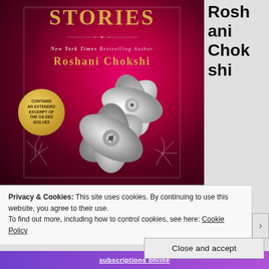[Figure (illustration): Book cover for a short story collection by Roshani Chokshi. Deep magenta/crimson background with radial glow. Title 'STORIES' in gold serif letters at top. Text reads 'NEW YORK TIMES BESTSELLING AUTHOR' and 'ROSHANI CHOKSHI' in gold. A gold circular badge on lower left reads 'CONTAINS AN EXTENDED EXCERPT OF THE GILDED WOLVES'. Silver metallic lotus/flower decorations in center-lower area.]
Roshani Chokshi
Privacy & Cookies: This site uses cookies. By continuing to use this website, you agree to their use.
To find out more, including how to control cookies, see here: Cookie Policy
Close and accept
subscriptions online